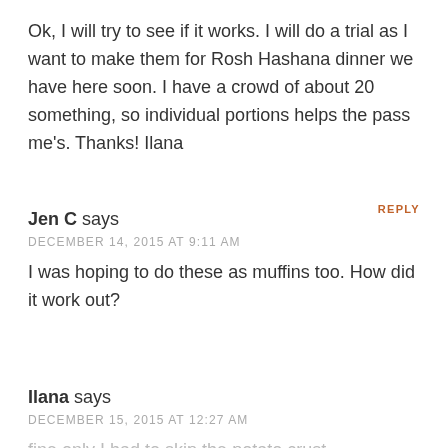Ok, I will try to see if it works. I will do a trial as I want to make them for Rosh Hashana dinner we have here soon. I have a crowd of about 20 something, so individual portions helps the pass me's. Thanks! Ilana
REPLY
Jen C says
DECEMBER 14, 2015 AT 9:11 AM
I was hoping to do these as muffins too. How did it work out?
Ilana says
DECEMBER 15, 2015 AT 12:27 AM
fine only I had to skip the potato crust